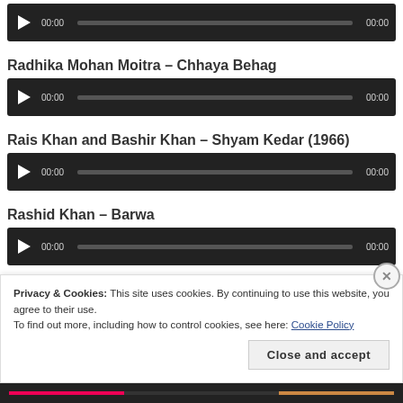[Figure (other): Audio player widget at top of page showing 00:00 / 00:00 with play button and progress bar]
Radhika Mohan Moitra – Chhaya Behag
[Figure (other): Audio player widget for Radhika Mohan Moitra – Chhaya Behag, showing 00:00 / 00:00]
Rais Khan and Bashir Khan – Shyam Kedar (1966)
[Figure (other): Audio player widget for Rais Khan and Bashir Khan – Shyam Kedar (1966), showing 00:00 / 00:00]
Rashid Khan – Barwa
[Figure (other): Audio player widget for Rashid Khan – Barwa, showing 00:00 / 00:00]
Privacy & Cookies: This site uses cookies. By continuing to use this website, you agree to their use.
To find out more, including how to control cookies, see here: Cookie Policy
Close and accept